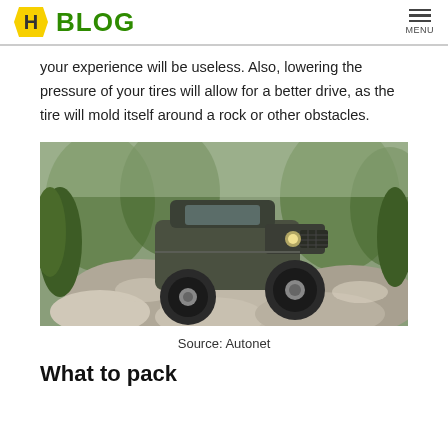H BLOG | MENU
your experience will be useless. Also, lowering the pressure of your tires will allow for a better drive, as the tire will mold itself around a rock or other obstacles.
[Figure (photo): An off-road 4x4 vehicle climbing over large rocky terrain surrounded by shrubs and trees]
Source: Autonet
What to pack